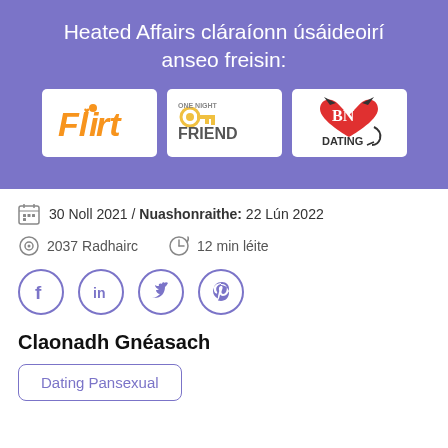Heated Affairs cláraíonn úsáideoirí anseo freisin:
[Figure (logo): Three logos: Flirt (orange text), One Night Friend (keys icon with text), BN Dating (heart with devil horns logo)]
30 Noll 2021 / Nuashonraithe: 22 Lún 2022
2037 Radhairc    12 min léite
[Figure (infographic): Social share buttons: Facebook, LinkedIn, Twitter, Pinterest — purple circle outlines with icons]
Claonadh Gnéasach
Dating Pansexual